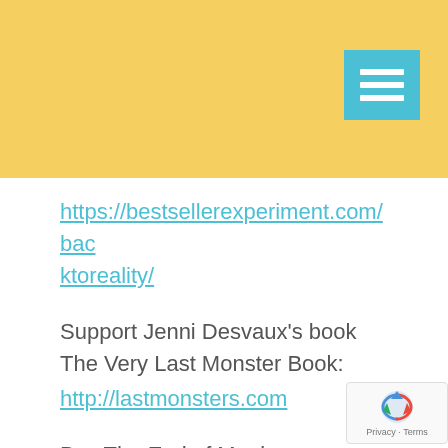[Figure (other): Yellow header bar with a teal/cyan hamburger menu button in the top-right corner]
https://bestsellerexperiment.com/backtoreality/
Support Jenni Desvaux's book The Very Last Monster Book: http://lastmonsters.com
Buy The End of Magic: https://markstaywrites.com/the-end-of-magic/
[Figure (other): reCAPTCHA badge with logo and Privacy - Terms text]